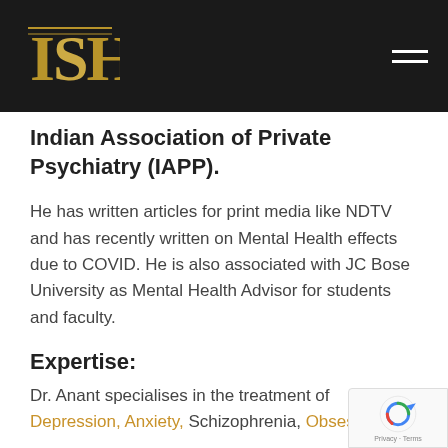[Figure (logo): Website header bar with gold/dark logo letters ISH and hamburger menu icon on dark background]
Indian Association of Private Psychiatry (IAPP).
He has written articles for print media like NDTV and has recently written on Mental Health effects due to COVID. He is also associated with JC Bose University as Mental Health Advisor for students and faculty.
Expertise:
Dr. Anant specialises in the treatment of Depression, Anxiety, Schizophrenia, Obsessive-